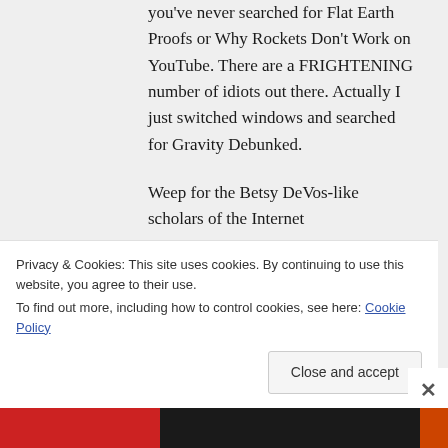you've never searched for Flat Earth Proofs or Why Rockets Don't Work on YouTube. There are a FRIGHTENING number of idiots out there. Actually I just switched windows and searched for Gravity Debunked.
Weep for the Betsy DeVos-like scholars of the Internet
Privacy & Cookies: This site uses cookies. By continuing to use this website, you agree to their use.
To find out more, including how to control cookies, see here: Cookie Policy